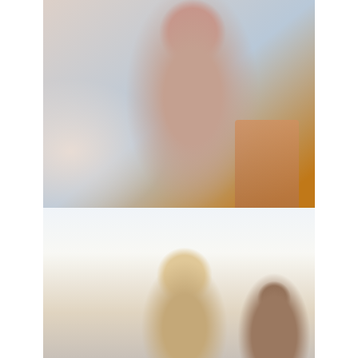[Figure (photo): A young woman in a pink hoodie sitting on a couch during a therapy/evaluation session, with a clinician partially visible in the foreground writing notes.]
Mental Health Evaluation
Cost: $100 (60 min)...
[Figure (photo): A group meeting or workshop scene with a smiling woman holding a pen/marker, another person visible from behind, in a bright room.]